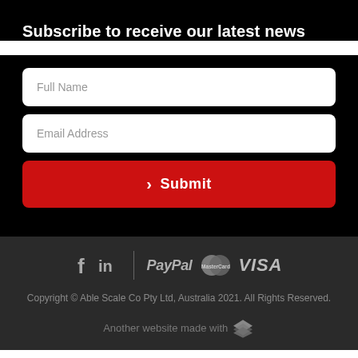Subscribe to receive our latest news
Full Name
Email Address
› Submit
[Figure (logo): Payment and social icons row: Facebook (f), LinkedIn (in), divider, PayPal, MasterCard, VISA logos]
Copyright © Able Scale Co Pty Ltd, Australia 2021. All Rights Reserved.
Another website made with [logo]